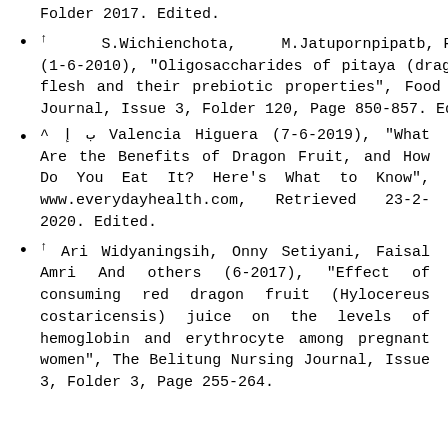Folder 2017. Edited.
↑ S.Wichienchota, M.Jatupornpipatb, R.Rastallc (1-6-2010), "Oligosaccharides of pitaya (dragon fruit) flesh and their prebiotic properties", Food Chemistry Journal, Issue 3, Folder 120, Page 850-857. Edited.
^ ب إ Valencia Higuera (7-6-2019), "What Are the Benefits of Dragon Fruit, and How Do You Eat It? Here's What to Know", www.everydayhealth.com, Retrieved 23-2-2020. Edited.
↑ Ari Widyaningsih, Onny Setiyani, Faisal Amri And others (6-2017), "Effect of consuming red dragon fruit (Hylocereus costaricensis) juice on the levels of hemoglobin and erythrocyte among pregnant women", The Belitung Nursing Journal, Issue 3, Folder 3, Page 255-264.